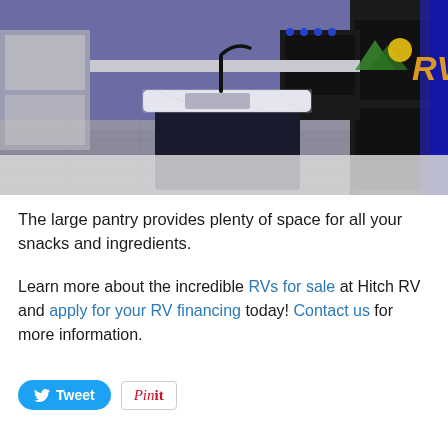[Figure (photo): Interior photo of an RV kitchen featuring a dark kitchen island with a white marble countertop and black faucet, black appliances, gray cabinetry, and an RV dealer logo watermark in the upper right]
The large pantry provides plenty of space for all your snacks and ingredients.
Learn more about the incredible RVs for sale at Hitch RV and apply for your RV financing today! Contact us for more information.